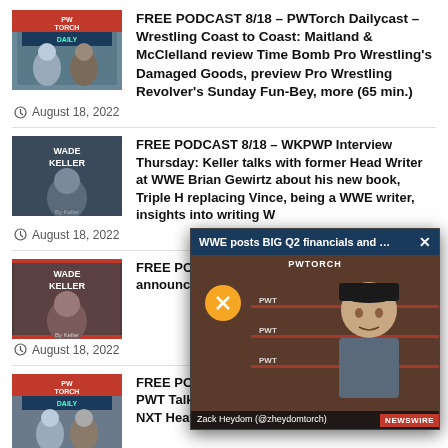[Figure (photo): PWTorch Daily Cast podcast thumbnail]
FREE PODCAST 8/18 – PWTorch Dailycast – Wrestling Coast to Coast: Maitland & McClelland review Time Bomb Pro Wrestling's Damaged Goods, preview Pro Wrestling Revolver's Sunday Fun-Bey, more (65 min.)
August 18, 2022
[Figure (photo): Wade Keller podcast thumbnail]
FREE PODCAST 8/18 – WKPWP Interview Thursday: Keller talks with former Head Writer at WWE Brian Gewirtz about his new book, Triple H replacing Vince, being a WWE writer, insights into writing W...
August 18, 2022
[Figure (photo): Wade Keller podcast thumbnail 2]
FREE PODCAST ... Wrestling ... Sage: Pun... announced... callers (16...
August 18, 2022
[Figure (photo): PWTorch Daily Cast podcast thumbnail 2]
FREE PODCAST 8/17 – PWTorch Dailycast – PWT Talks NXT: Lindberg & Hazelwood discuss NXT Heatwave including Bron Breakker vs. JD...
[Figure (screenshot): Video popup overlay: WWE posts BIG Q2 financials and Wrestl... - PWTORCH video with Zack Heydom thumbnail and NEWSWIRE label]